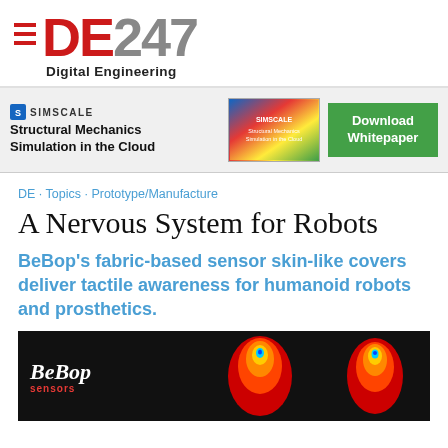[Figure (logo): DE247 Digital Engineering logo with red hamburger menu lines and grey 247 numeral]
[Figure (infographic): SimScale advertisement banner: Structural Mechanics Simulation in the Cloud, with colorful simulation thumbnail and green Download Whitepaper button]
DE · Topics · Prototype/Manufacture
A Nervous System for Robots
BeBop's fabric-based sensor skin-like covers deliver tactile awareness for humanoid robots and prosthetics.
[Figure (photo): BeBop Sensors logo on dark background with heat-map finger sensor imagery showing red and blue color mapping on robotic/prosthetic fingers]